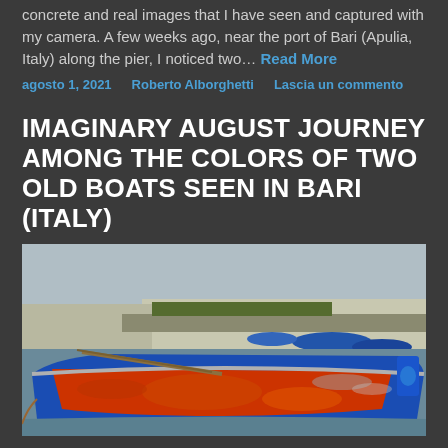concrete and real images that I have seen and captured with my camera. A few weeks ago, near the port of Bari (Apulia, Italy) along the pier, I noticed two… Read More
agosto 1, 2021   Roberto Alborghetti   Lascia un commento
IMAGINARY AUGUST JOURNEY AMONG THE COLORS OF TWO OLD BOATS SEEN IN BARI (ITALY)
[Figure (photo): A weathered blue wooden boat with peeling paint revealing red underneath, docked at a harbor in Bari, Italy. Several other blue boats are visible in the background along a pier with buildings.]